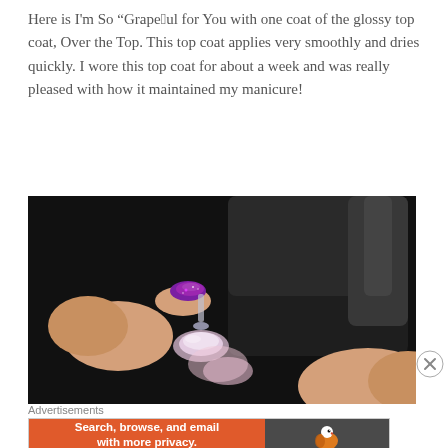Here is I'm So “Grape”ful for You with one coat of the glossy top coat, Over the Top. This top coat applies very smoothly and dries quickly. I wore this top coat for about a week and was really pleased with how it maintained my manicure!
[Figure (photo): Close-up photo of a hand with purple glittery nail polish applying a clear top coat from a nail polish bottle, against a dark black background]
Advertisements
[Figure (screenshot): DuckDuckGo advertisement banner: orange left panel saying 'Search, browse, and email with more privacy. All in One Free App' and dark right panel with DuckDuckGo duck logo and brand name]